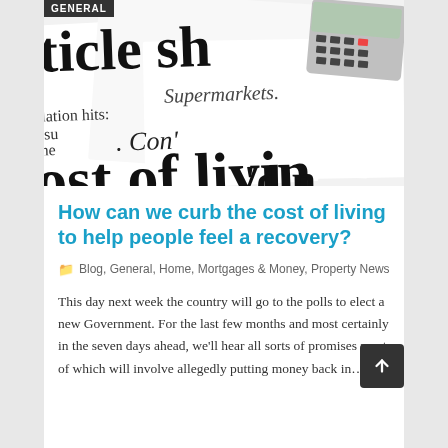[Figure (photo): Newspaper clippings with headlines about cost of living, inflation, consumer prices, with a calculator in the top right corner. A dark badge reading GENERAL is in the top left corner.]
How can we curb the cost of living to help people feel a recovery?
Blog, General, Home, Mortgages & Money, Property News
This day next week the country will go to the polls to elect a new Government. For the last few months and most certainly in the seven days ahead, we'll hear all sorts of promises most of which will involve allegedly putting money back in…